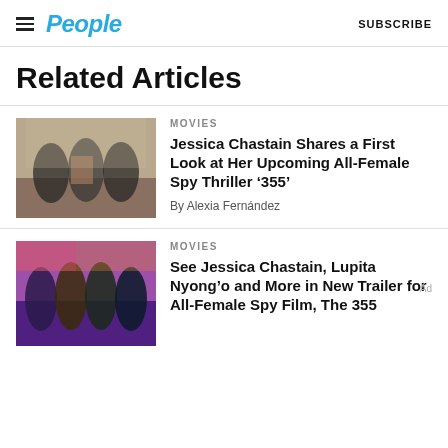People | SUBSCRIBE
Related Articles
[Figure (photo): Photo of Jessica Chastain and other women at a film event]
MOVIES
Jessica Chastain Shares a First Look at Her Upcoming All-Female Spy Thriller ‘355’
By Alexia Fernández
[Figure (photo): Photo of Jessica Chastain, Lupita Nyong'o and other actresses in formal attire]
MOVIES
See Jessica Chastain, Lupita Nyong’o and More in New Trailer for All-Female Spy Film, The 355